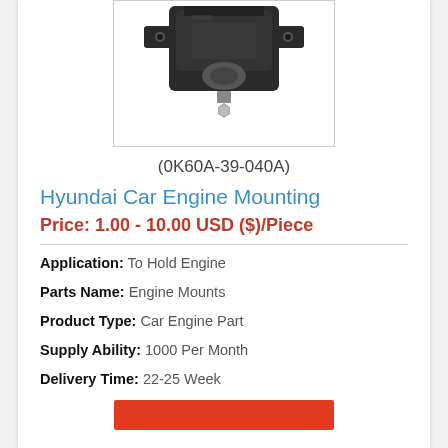[Figure (photo): Black Hyundai car engine mounting bracket with metal bolt/stud, photographed from above on white background]
(0K60A-39-040A)
Hyundai Car Engine Mounting
Price: 1.00 - 10.00 USD ($)/Piece
Application:  To Hold Engine
Parts Name:  Engine Mounts
Product Type:  Car Engine Part
Supply Ability:  1000 Per Month
Delivery Time:  22-25 Week